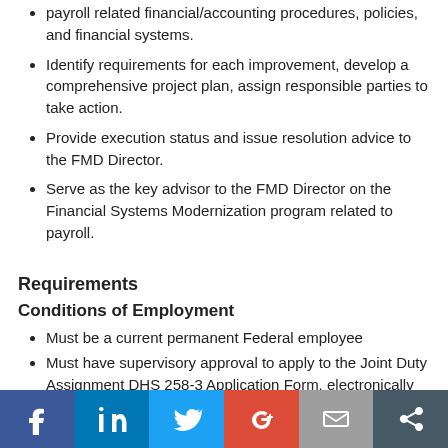payroll related financial/accounting procedures, policies, and financial systems.
Identify requirements for each improvement, develop a comprehensive project plan, assign responsible parties to take action.
Provide execution status and issue resolution advice to the FMD Director.
Serve as the key advisor to the FMD Director on the Financial Systems Modernization program related to payroll.
Requirements
Conditions of Employment
Must be a current permanent Federal employee
Must have supervisory approval to apply to the Joint Duty Assignment DHS 258-3 Application Form, electronically signed
Social media icons: Facebook, LinkedIn, Twitter, Google+, Email, Share